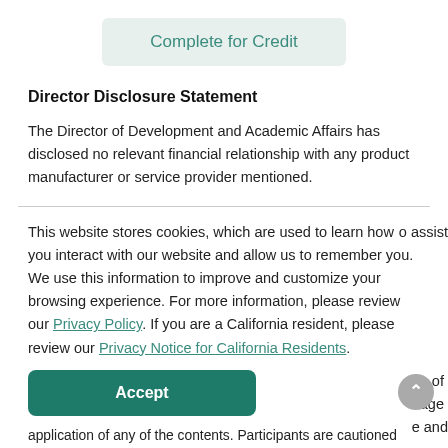Complete for Credit
Director Disclosure Statement
The Director of Development and Academic Affairs has disclosed no relevant financial relationship with any product manufacturer or service provider mentioned.
This website stores cookies, which are used to learn how you interact with our website and allow us to remember you. We use this information to improve and customize your browsing experience. For more information, please review our Privacy Policy. If you are a California resident, please review our Privacy Notice for California Residents.
Accept
application of any of the contents. Participants are cautioned